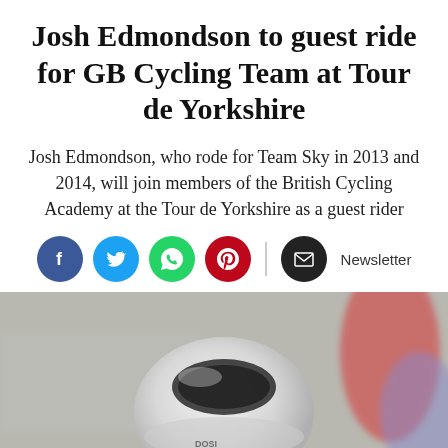Josh Edmondson to guest ride for GB Cycling Team at Tour de Yorkshire
Josh Edmondson, who rode for Team Sky in 2013 and 2014, will join members of the British Cycling Academy at the Tour de Yorkshire as a guest rider
[Figure (infographic): Social sharing icons row: Facebook (blue circle), Twitter (light blue circle), WhatsApp (green circle), Pinterest (dark red circle), envelope/email (black circle) with Newsletter label]
[Figure (photo): Close-up photo of a white cycling helmet with dark visor/stripe, blurred background with red and blue/purple elements visible]